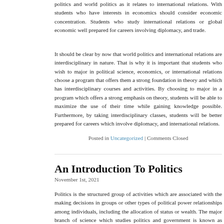politics and world politics as it relates to international relations. With students who have interests in economics should consider economic concentration. Students who study international relations or global economic well prepared for careers involving diplomacy, and trade.
It should be clear by now that world politics and international relations are interdisciplinary in nature. That is why it is important that students who wish to major in political science, economics, or international relations choose a program that offers them a strong foundation in theory and which has interdisciplinary courses and activities. By choosing to major in a program which offers a strong emphasis on theory, students will be able to maximize the use of their time while gaining knowledge possible. Furthermore, by taking interdisciplinary classes, students will be better prepared for careers which involve diplomacy, and international relations.
Posted in Uncategorized | Comments Closed
An Introduction To Politics
November 1st, 2021
Politics is the structured group of activities which are associated with the making decisions in groups or other types of political power relationships among individuals, including the allocation of status or wealth. The major branch of science which studies politics and government is known as public policy. It is known as political science, social sciences, political science and diplomacy. The prominent political scientists are voting, power, multiparty competition, international organization, national character, constitutional law, human rights and freedom.